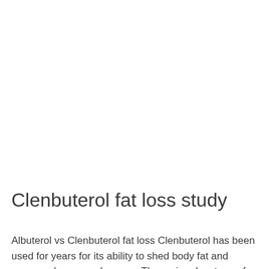Clenbuterol fat loss study
Albuterol vs Clenbuterol fat loss Clenbuterol has been used for years for its ability to shed body fat and preserve lean muscle mass. The main advantage of Clenbuterol is its ability to reduce triglycerides and to lower